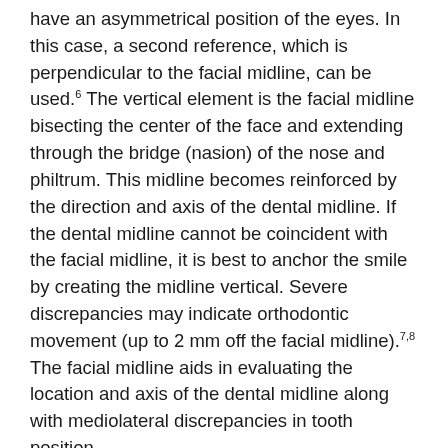have an asymmetrical position of the eyes. In this case, a second reference, which is perpendicular to the facial midline, can be used.6 The vertical element is the facial midline bisecting the center of the face and extending through the bridge (nasion) of the nose and philtrum. This midline becomes reinforced by the direction and axis of the dental midline. If the dental midline cannot be coincident with the facial midline, it is best to anchor the smile by creating the midline vertical. Severe discrepancies may indicate orthodontic movement (up to 2 mm off the facial midline).7,8 The facial midline aids in evaluating the location and axis of the dental midline along with mediolateral discrepancies in tooth position.
Next, the clinician should consider the growth and development of the patient to determine how to treat the anterior esthetics. The upper third of the face is the area bordered by the base of the hairline—or beginning of wrinkling of the forehead—to the top of the brow. The top